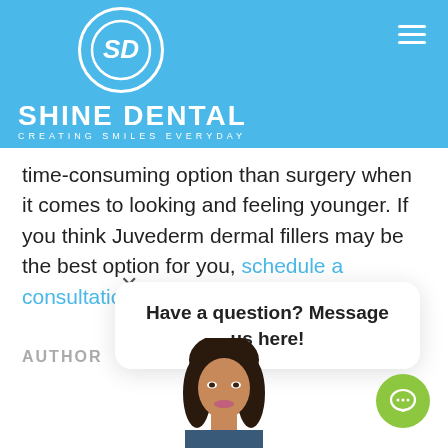[Figure (logo): Shine Dental logo with circular SD emblem and text SHINE DENTAL / CREATING SMILES EVERYDAY on blue background with hamburger menu icon]
time-consuming option than surgery when it comes to looking and feeling younger. If you think Juvederm dermal fillers may be the best option for you, schedule a consultation today at Shine Dental.
AUTHOR
[Figure (other): Chat popup overlay with close X button and text 'Have a question? Message us here!' with green chat bubble button]
[Figure (photo): Partial photo of a woman with dark curly hair, author photo at bottom of page]